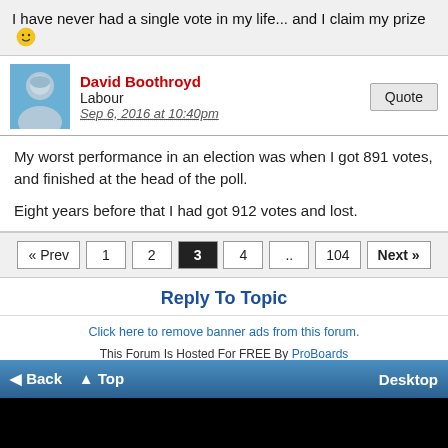I have never had a single vote in my life... and I claim my prize 🙂
David Boothroyd
Labour
Sep 6, 2016 at 10:40pm
My worst performance in an election was when I got 891 votes, and finished at the head of the poll.

Eight years before that I had got 912 votes and lost.
« Prev  1  2  3  4  ..  104  Next »
Reply To Topic
Click here to remove banner ads from this forum.
This Forum Is Hosted For FREE By ProBoards
Get Your Own Free Forum!
Terms of Service  Privacy  Cookies  FTC Disclosure  Report Abuse  Do Not Sell My Personal Information
◄ Back  ▲ Top  Desktop